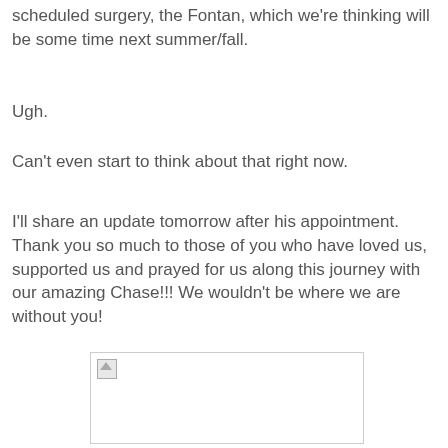scheduled surgery, the Fontan, which we're thinking will be some time next summer/fall.
Ugh.
Can't even start to think about that right now.
I'll share an update tomorrow after his appointment. Thank you so much to those of you who have loved us, supported us and prayed for us along this journey with our amazing Chase!!! We wouldn't be where we are without you!
[Figure (photo): A broken/unloaded image placeholder shown as a white rectangle with a small broken image icon in the top-left corner, bordered by a light gray outline.]